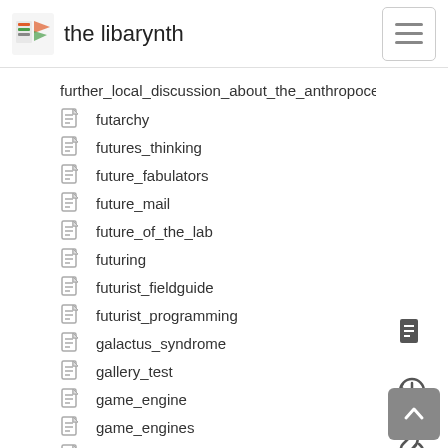the libarynth
further_local_discussion_about_the_anthropocentric
futarchy
futures_thinking
future_fabulators
future_mail
future_of_the_lab
futuring
futurist_fieldguide
futurist_programming
galactus_syndrome
gallery_test
game_engine
game_engines
game_of_go
game_of_nomic
game_prototyping
game_theory
garbage_collection